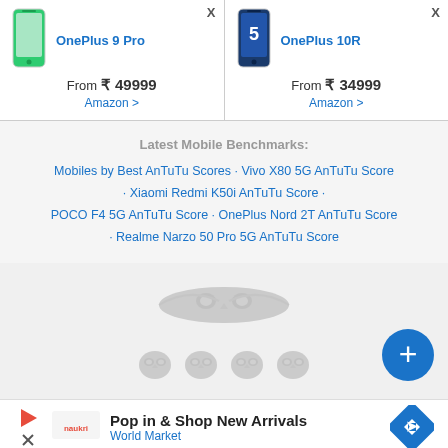| OnePlus 9 Pro | OnePlus 10R |
| --- | --- |
| From ₹ 49999
Amazon > | From ₹ 34999
Amazon > |
Latest Mobile Benchmarks:
Mobiles by Best AnTuTu Scores · Vivo X80 5G AnTuTu Score · Xiaomi Redmi K50i AnTuTu Score · POCO F4 5G AnTuTu Score · OnePlus Nord 2T AnTuTu Score · Realme Narzo 50 Pro 5G AnTuTu Score
[Figure (logo): Owl/Gadgets360 watermark logo with four smaller owl icons below]
[Figure (infographic): Advertisement banner: Pop in & Shop New Arrivals - World Market with play button and direction sign icon]